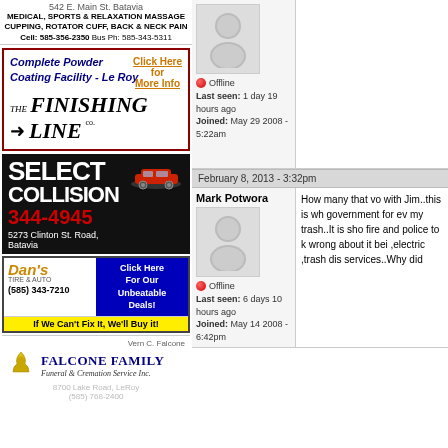[Figure (other): Licensed Massage Therapist ad - 542 E. Main St. Batavia, Medical Sports & Relaxation Massage, Cupping Rotator Cuff Back & Neck Pain, Cell 585-356-2350 Bus Ph 585-343-5311]
[Figure (other): The Finishing Line Co. - Complete Powder Coating Facility Le Roy, Click Here for More Info ad with red border]
[Figure (other): Select Collision 344-4945 ad, 5273 Clinton St. Road Batavia, black background with red car illustration]
[Figure (other): Dan's Tire & Auto ad, (585) 343-7210, Click Here For Our Unbeatable Deals!, If We Can't Fix It We'll Buy it!]
[Figure (other): Falcone Family Funeral & Cremation Service Inc. ad, Vern C. Falcone, 8700 Lake Road LeRoy, (585) 768-2400]
Offline
Last seen: 1 day 19 hours ago
Joined: May 29 2008 - 5:22am
February 8, 2013 - 3:32pm
Mark Potwora
Offline
Last seen: 6 days 10 hours ago
Joined: May 14 2008 - 6:42pm
How many that vo with Jim..this is wh government for ev my trash..It is sho fire and police to k wrong about it bei ,electric ,trash dis services..Why did